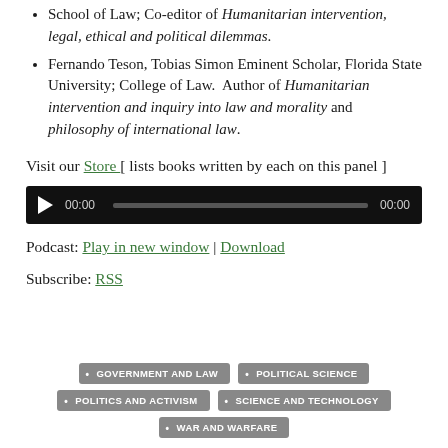School of Law; Co-editor of Humanitarian intervention, legal, ethical and political dilemmas.
Fernando Teson, Tobias Simon Eminent Scholar, Florida State University; College of Law. Author of Humanitarian intervention and inquiry into law and morality and philosophy of international law.
Visit our Store [ lists books written by each on this panel ]
[Figure (other): Audio player with play button, 00:00 time display, progress bar, and 00:00 end time on black background]
Podcast: Play in new window | Download
Subscribe: RSS
GOVERNMENT AND LAW • POLITICAL SCIENCE • POLITICS AND ACTIVISM • SCIENCE AND TECHNOLOGY • WAR AND WARFARE